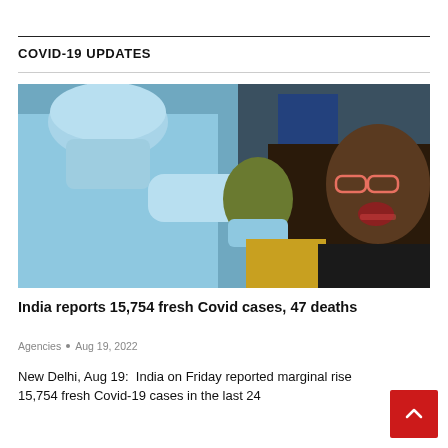COVID-19 UPDATES
[Figure (photo): A healthcare worker in blue PPE suit and face mask administering a COVID-19 nasal swab test to a man wearing glasses and a yellow shirt, with another masked person in the background.]
India reports 15,754 fresh Covid cases, 47 deaths
Agencies • Aug 19, 2022
New Delhi, Aug 19:  India on Friday reported marginal rise 15,754 fresh Covid-19 cases in the last 24